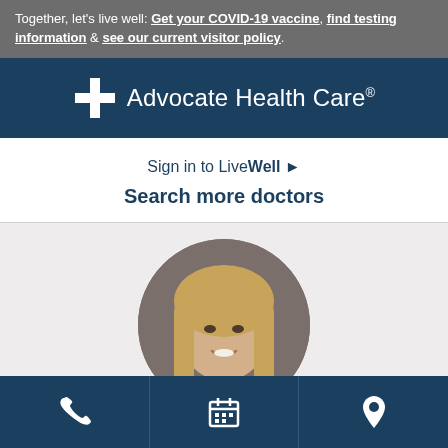Together, let's live well: Get your COVID-19 vaccine, find testing information & see our current visitor policy.
[Figure (logo): Advocate Health Care logo with white cross and text on dark blue background]
Sign in to LiveWell ▶
Search more doctors
[Figure (photo): Circular cropped professional photo of a female doctor with blonde hair, smiling, on grey background]
[Figure (infographic): Dark blue bottom toolbar with three icons: phone, calendar/schedule, and location pin]